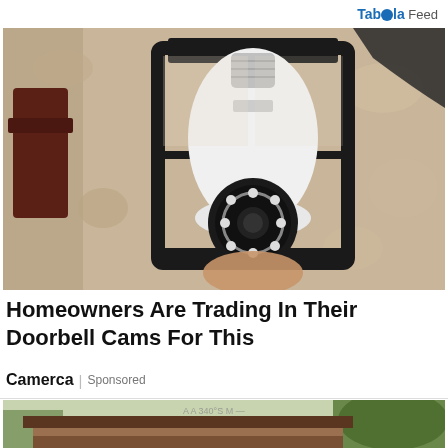Taboola Feed
[Figure (photo): A hand holding a white security camera shaped like a light bulb, installed inside a black metal outdoor wall lantern fixture mounted on a textured beige stucco wall.]
Homeowners Are Trading In Their Doorbell Cams For This
Camerca | Sponsored
[Figure (photo): Partial view of a house rooftop with dark brown fascia boards and green trees in the background.]